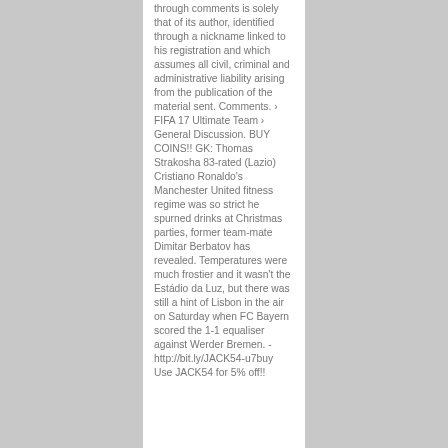through comments is solely that of its author, identified through a nickname linked to his registration and which assumes all civil, criminal and administrative liability arising from the publication of the material sent. Comments. › FIFA 17 Ultimate Team › General Discussion. BUY COINS!! GK: Thomas Strakosha 83-rated (Lazio) Cristiano Ronaldo's Manchester United fitness regime was so strict he spurned drinks at Christmas parties, former team-mate Dimitar Berbatov has revealed. Temperatures were much frostier and it wasn't the Estádio da Luz, but there was still a hint of Lisbon in the air on Saturday when FC Bayern scored the 1-1 equaliser against Werder Bremen. - http://bit.ly/JACK54-u7buy Use JACK54 for 5% off!!